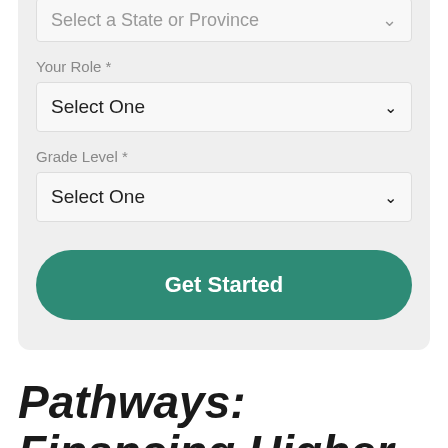[Figure (screenshot): Web form panel with a 'Select a State or Province' dropdown at top, a 'Your Role *' label with 'Select One' dropdown, a 'Grade Level *' label with 'Select One' dropdown, and a teal 'Get Started' button, all on a light gray background.]
Pathways: Financing Higher Education